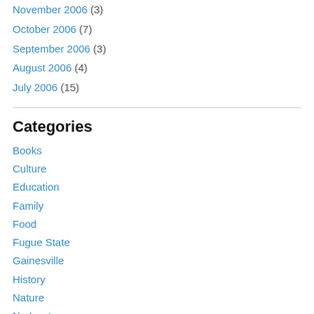November 2006 (3)
October 2006 (7)
September 2006 (3)
August 2006 (4)
July 2006 (15)
Categories
Books
Culture
Education
Family
Food
Fugue State
Gainesville
History
Nature
Nor'easter
Our Story Continues